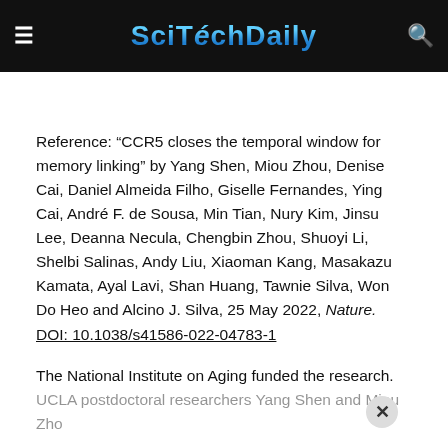SciTechDaily
Reference: “CCR5 closes the temporal window for memory linking” by Yang Shen, Miou Zhou, Denise Cai, Daniel Almeida Filho, Giselle Fernandes, Ying Cai, André F. de Sousa, Min Tian, Nury Kim, Jinsu Lee, Deanna Necula, Chengbin Zhou, Shuoyi Li, Shelbi Salinas, Andy Liu, Xiaoman Kang, Masakazu Kamata, Ayal Lavi, Shan Huang, Tawnie Silva, Won Do Heo and Alcino J. Silva, 25 May 2022, Nature.
DOI: 10.1038/s41586-022-04783-1
The National Institute on Aging funded the research.
UCLA postdoctoral researchers Yang Shen and Miou Zho